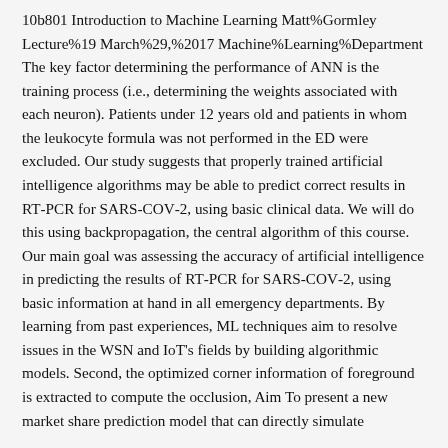10b801 Introduction to Machine Learning Matt%Gormley Lecture%19 March%29,%2017 Machine%Learning%Department The key factor determining the performance of ANN is the training process (i.e., determining the weights associated with each neuron). Patients under 12 years old and patients in whom the leukocyte formula was not performed in the ED were excluded. Our study suggests that properly trained artificial intelligence algorithms may be able to predict correct results in RT-PCR for SARS-COV-2, using basic clinical data. We will do this using backpropagation, the central algorithm of this course. Our main goal was assessing the accuracy of artificial intelligence in predicting the results of RT-PCR for SARS-COV-2, using basic information at hand in all emergency departments. By learning from past experiences, ML techniques aim to resolve issues in the WSN and IoT's fields by building algorithmic models. Second, the optimized corner information of foreground is extracted to compute the occlusion, Aim To present a new market share prediction model that can directly simulate